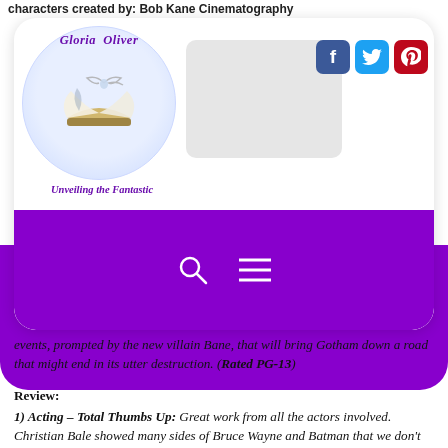characters created by: Bob Kane Cinematography
[Figure (logo): Gloria Oliver 'Unveiling the Fantastic' blog logo — circular emblem with fantasy artwork, purple italic text]
[Figure (screenshot): Blurred/redacted search box area in blog header]
[Figure (infographic): Social media icons: Facebook (blue), Twitter (light blue), Pinterest (red)]
[Figure (infographic): Purple navigation bar with search and hamburger menu icons]
events, prompted by the new villain Bane, that will bring Gotham down a road that might end in its utter destruction. (Rated PG-13)
Review:
1) Acting – Total Thumbs Up: Great work from all the actors involved. Christian Bale showed many sides of Bruce Wayne and Batman that we don't normally see